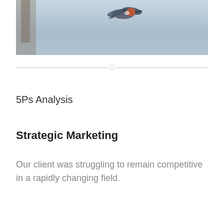[Figure (photo): A bird (appears to be a kingfisher or similar bird) in flight against a light blue-grey sky, photographed from below/side angle, wings spread.]
5Ps Analysis
Strategic Marketing
Our client was struggling to remain competitive in a rapidly changing field.